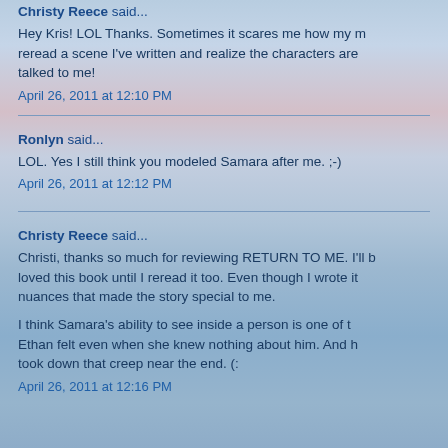Christy Reece said...
Hey Kris! LOL Thanks. Sometimes it scares me how my m... reread a scene I've written and realize the characters are... talked to me!
April 26, 2011 at 12:10 PM
Ronlyn said...
LOL. Yes I still think you modeled Samara after me. ;-)
April 26, 2011 at 12:12 PM
Christy Reece said...
Christi, thanks so much for reviewing RETURN TO ME. I'll l... loved this book until I reread it too. Even though I wrote it... nuances that made the story special to me.
I think Samara's ability to see inside a person is one of t... Ethan felt even when she knew nothing about him. And l... took down that creep near the end. (:
April 26, 2011 at 12:16 PM